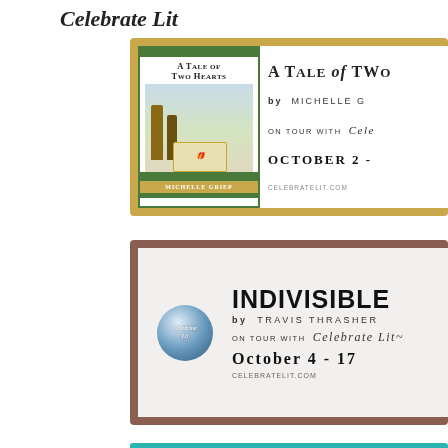Celebrate Lit
[Figure (illustration): Book tour banner for 'A Tale of Two Hearts' by Michelle Griep on tour with Celebrate Lit, October 2 - [date]. Gold border, book cover on left showing couple in winter scene, text on right. CELEBRATELIT.COM]
[Figure (illustration): Book tour banner for 'Indivisible' by Travis Thrasher on tour with Celebrate Lit, October 4 - 17. Brownish-mauve border, Celebrate Lit logo circle on left, text on right. CELEBRATELIT.COM]
[Figure (illustration): Partial book tour banner (teal/turquoise) at bottom of page, cut off.]